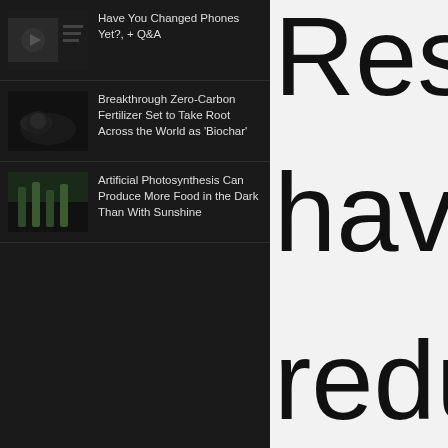[Figure (screenshot): Dark-themed news sidebar with three article thumbnails and headlines]
Have You Changed Phones Yet?, + Q&A
Breakthrough Zero-Carbon Fertilizer Set to Take Root Across the World as 'Biochar'
Artificial Photosynthesis Can Produce More Food in the Dark Than With Sunshine
Rese- have reduc water